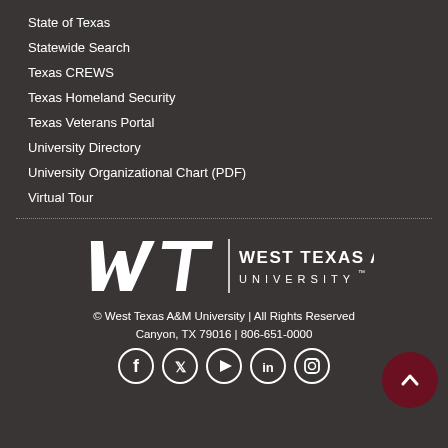State of Texas
Statewide Search
Texas CREWS
Texas Homeland Security
Texas Veterans Portal
University Directory
University Organizational Chart (PDF)
Virtual Tour
[Figure (logo): West Texas A&M University logo — italic WT monogram with 'WEST TEXAS A&M UNIVERSITY' wordmark in white on dark background]
© West Texas A&M University | All Rights Reserved
Canyon, TX 79016 | 806-651-0000